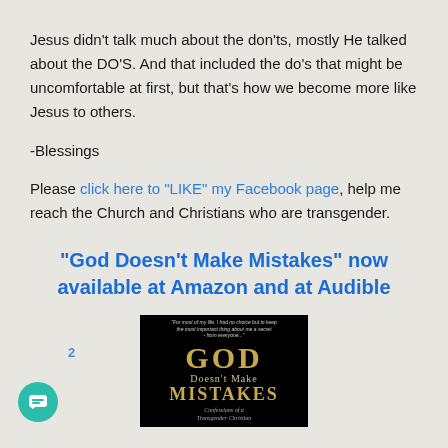Jesus didn't talk much about the don'ts, mostly He talked about the DO'S. And that included the do's that might be uncomfortable at first, but that's how we become more like Jesus to others.
-Blessings
Please click here to “LIKE” my Facebook page, help me reach the Church and Christians who are transgender.
“God Doesn’t Make Mistakes” now available at Amazon and at Audible
[Figure (photo): Book cover of 'God Doesn't Make Mistakes: Confessions of a Transgender Christian' — black background with gold lettering]